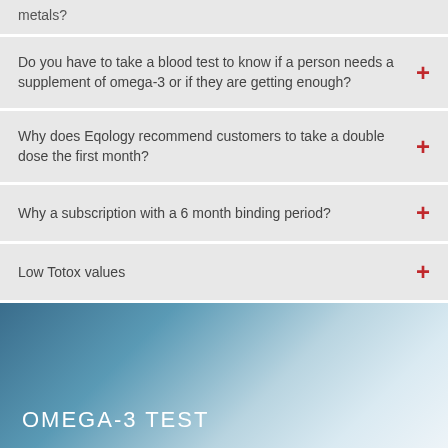metals?
Do you have to take a blood test to know if a person needs a supplement of omega-3 or if they are getting enough?
Why does Eqology recommend customers to take a double dose the first month?
Why a subscription with a 6 month binding period?
Low Totox values
OMEGA-3 TEST
By continuing to use the site, you agree to the use of cookies.